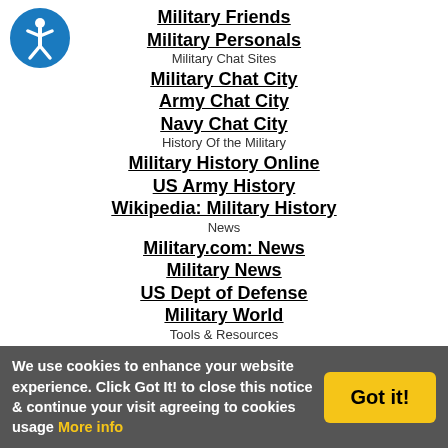[Figure (logo): Blue accessibility icon circle with person symbol]
Military Friends
Military Personals
Military Chat Sites
Military Chat City
Army Chat City
Navy Chat City
History Of the Military
Military History Online
US Army History
Wikipedia: Military History
News
Military.com: News
Military News
US Dept of Defense
Military World
Tools & Resources
Military Spouse Resource
Military Once Source
Military Resources
Military Forms
Online Dating Sites
We use cookies to enhance your website experience. Click Got It! to close this notice & continue your visit agreeing to cookies usage More info